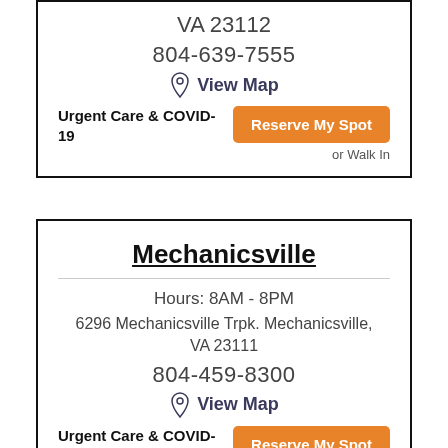VA 23112
804-639-7555
View Map
Urgent Care & COVID-19
Reserve My Spot
or Walk In
Mechanicsville
Hours: 8AM - 8PM
6296 Mechanicsville Trpk. Mechanicsville, VA 23111
804-459-8300
View Map
Urgent Care & COVID-19
Reserve My Spot